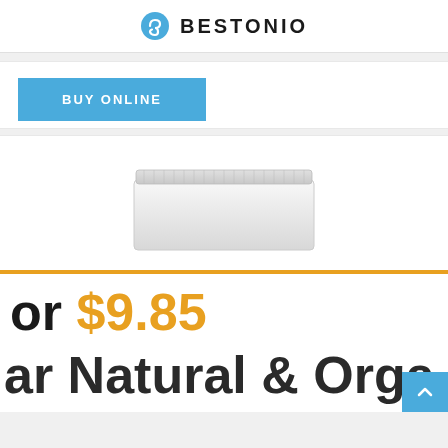BESTONIO
BUY ONLINE
[Figure (photo): White rectangular product (likely a flat panel or tray) on white background]
or $9.85
ar Natural & Orga